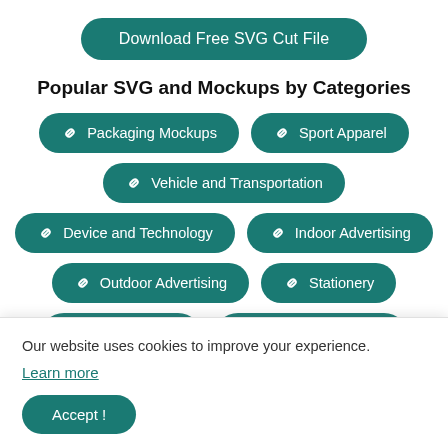Download Free SVG Cut File
Popular SVG and Mockups by Categories
Packaging Mockups
Sport Apparel
Vehicle and Transportation
Device and Technology
Indoor Advertising
Outdoor Advertising
Stationery
Free Mockups
All Object Mockups
Our website uses cookies to improve your experience.
Learn more
Accept !